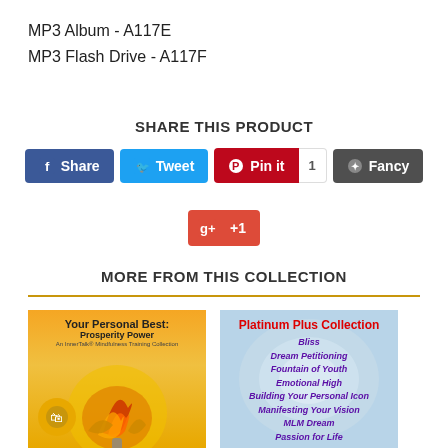MP3 Album - A117E
MP3 Flash Drive - A117F
SHARE THIS PRODUCT
[Figure (screenshot): Social sharing buttons: Share (Facebook), Tweet (Twitter), Pin it with count 1 (Pinterest), Fancy (Fancy), and Google +1 button]
MORE FROM THIS COLLECTION
[Figure (photo): Two product images: 'Your Personal Best: Prosperity Power' with orange flame graphic, and 'Platinum Plus Collection' with list of titles on blue background]